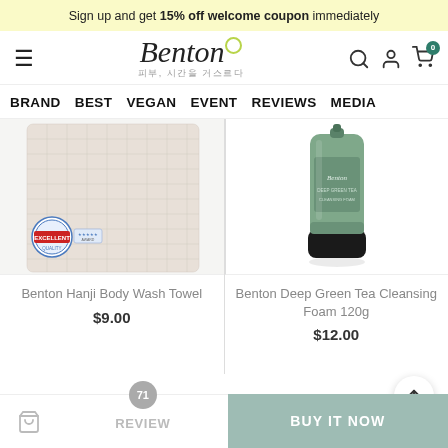Sign up and get 15% off welcome coupon immediately
[Figure (logo): Benton brand logo with cursive script and Korean tagline 피부, 시간을 거스르다]
BRAND  BEST  VEGAN  EVENT  REVIEWS  MEDIA
[Figure (photo): Benton Hanji Body Wash Towel product image - white textured towel with Excellent quality badge]
Benton Hanji Body Wash Towel
$9.00
[Figure (photo): Benton Deep Green Tea Cleansing Foam 120g product image - green tube with black cap]
Benton Deep Green Tea Cleansing Foam 120g
$12.00
REVIEW  BUY IT NOW